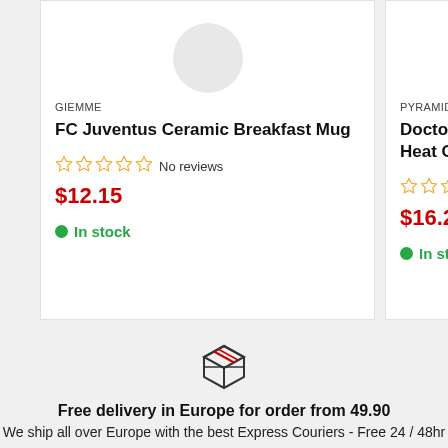GIEMME
FC Juventus Ceramic Breakfast Mug
No reviews
$12.15
In stock
PYRAMID INTERNATIO...
Doctor Who Tazza C... Heat Change Mug
No rev...
$16.21  $20.17
In stock
[Figure (illustration): Package/box delivery icon with diagonal stripes on top]
Free delivery in Europe for order from 49.90
We ship all over Europe with the best Express Couriers - Free 24 / 48hr
English
Shipping on order from € 49.90
$ USD